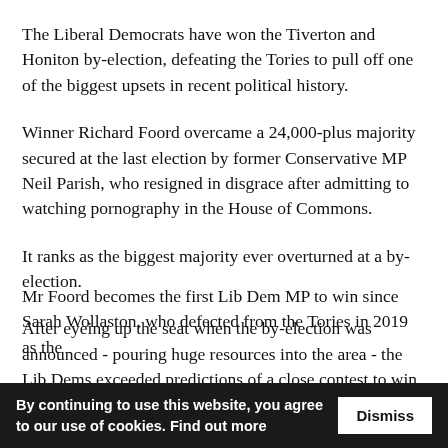The Liberal Democrats have won the Tiverton and Honiton by-election, defeating the Tories to pull off one of the biggest upsets in recent political history.
Winner Richard Foord overcame a 24,000-plus majority secured at the last election by former Conservative MP Neil Parish, who resigned in disgrace after admitting to watching pornography in the House of Commons.
It ranks as the biggest majority ever overturned at a by-election.
After eyeing up the seat when the by-election was announced - pouring huge resources into the area - the Lib Dems exceeded predictions of a close contest to win by more than 6,000 votes.
Mr Foord becomes the first Lib Dem MP to win since Sarah Wollaston, who defected from the Tories in 2019 as the
By continuing to use this website, you agree to our use of cookies. Find out more  Dismiss